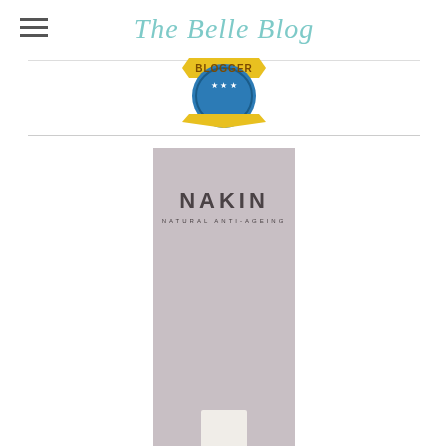The Belle Blog
[Figure (logo): Blogger badge/seal icon in blue and yellow at the top center of the page]
[Figure (photo): Nakin Natural Anti-Ageing product box in mauve/pink-grey colour with brand name NAKIN and tagline NATURAL ANTI-AGEING, with a small white bottle visible at the bottom]